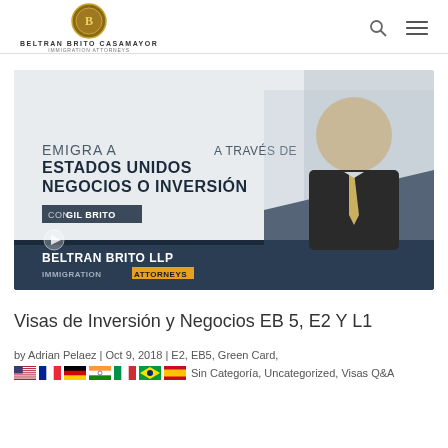BELTRAN BRITO CASAMAYOR / Immigration Attorneys
[Figure (photo): Promotional banner for Beltran Brito LLP Immigration Attorneys showing a man in a dark suit with yellow tie, text reading 'EMIGRA A ESTADOS UNIDOS A TRAVÉS DE NEGOCIOS O INVERSIÓN' and 'CON GIL BRITO', with 'BELTRAN BRITO LLP IMMIGRATION ATTORNEYS' at bottom on dark background.]
Visas de Inversión y Negocios EB 5, E2 Y L1
by Adrian Pelaez | Oct 9, 2018 | E2, EB5, Green Card, L1, Sin Categoría, Uncategorized, Visas Q&A